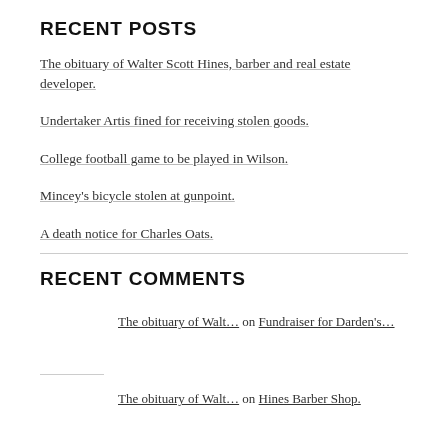RECENT POSTS
The obituary of Walter Scott Hines, barber and real estate developer.
Undertaker Artis fined for receiving stolen goods.
College football game to be played in Wilson.
Mincey's bicycle stolen at gunpoint.
A death notice for Charles Oats.
RECENT COMMENTS
The obituary of Walt… on Fundraiser for Darden's…
The obituary of Walt… on Hines Barber Shop.
Lisa Y. Henderson on Dorothy H. Ellis celebrates